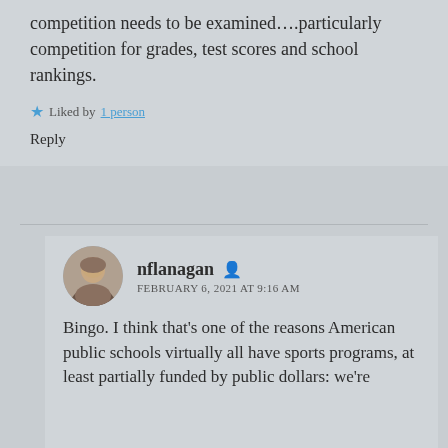competition needs to be examined....particularly competition for grades, test scores and school rankings.
Liked by 1 person
Reply
nflanagan
FEBRUARY 6, 2021 AT 9:16 AM
Bingo. I think that’s one of the reasons American public schools virtually all have sports programs, at least partially funded by public dollars: we’re